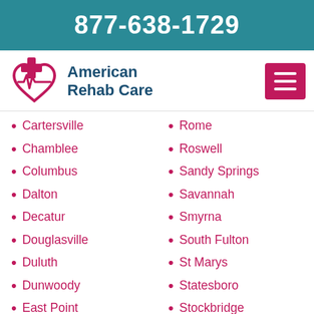877-638-1729
[Figure (logo): American Rehab Care logo with heart and cross icon]
Cartersville
Chamblee
Columbus
Dalton
Decatur
Douglasville
Duluth
Dunwoody
East Point
Evans
Gainesville
Hinesville
Rome
Roswell
Sandy Springs
Savannah
Smyrna
South Fulton
St Marys
Statesboro
Stockbridge
Stonecrest
Sugar Hill
Thomasville